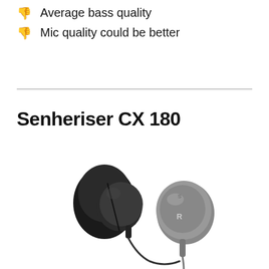Average bass quality
Mic quality could be better
Senheriser CX 180
[Figure (photo): Product photo of Sennheiser CX 180 earphones showing two earbuds with black silicone tips and gray housing, one earbud shown front view and one from the side, with cables.]